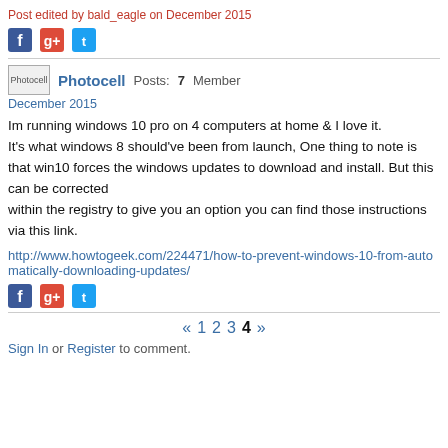Post edited by bald_eagle on December 2015
[Figure (other): Social sharing icons: Facebook, Google+, Twitter]
Photocell  Posts: 7  Member
December 2015
Im running windows 10 pro on 4 computers at home & I love it.
It's what windows 8 should've been from launch, One thing to note is that win10 forces the windows updates to download and install. But this can be corrected
within the registry to give you an option you can find those instructions via this link.
http://www.howtogeek.com/224471/how-to-prevent-windows-10-from-automatically-downloading-updates/
[Figure (other): Social sharing icons: Facebook, Google+, Twitter]
« 1 2 3 4 »
Sign In or Register to comment.